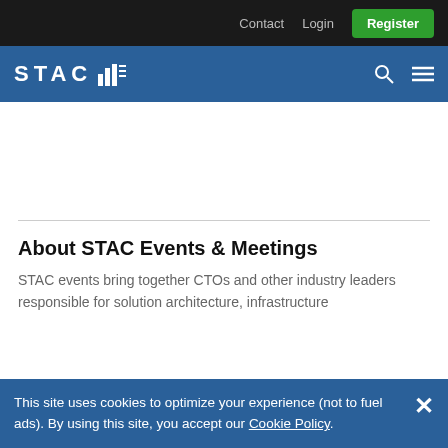Contact  Login  Register
[Figure (logo): STAC logo with bar chart icon on blue background, with search and menu icons]
About STAC Events & Meetings
STAC events bring together CTOs and other industry leaders responsible for solution architecture, infrastructure
This site uses cookies to optimize your experience (not to fuel ads). By using this site, you accept our Cookie Policy.